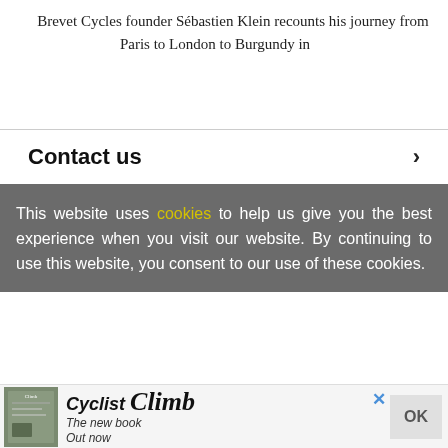Brevet Cycles founder Sébastien Klein recounts his journey from Paris to London to Burgundy in
Contact us
This website uses cookies to help us give you the best experience when you visit our website. By continuing to use this website, you consent to our use of these cookies.
[Figure (other): Advertisement banner for 'Cyclist Climb' book with book cover image, title, and tagline 'The new book Out now', with an OK button and close (×) button.]